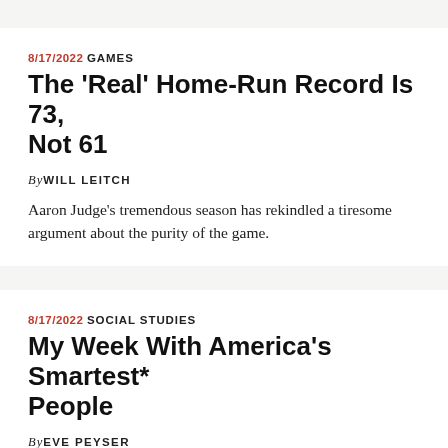8/17/2022 GAMES
The ‘Real’ Home-Run Record Is 73, Not 61
By WILL LEITCH
Aaron Judge’s tremendous season has rekindled a tiresome argument about the purity of the game.
8/17/2022 SOCIAL STUDIES
My Week With America’s Smartest* People
By EVE PEYSER
The strange but affirming experience that is Mensa’s Annual Gathering.